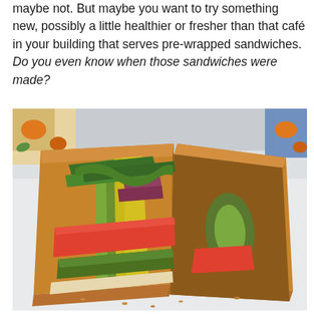maybe not. But maybe you want to try something new, possibly a little healthier or fresher than that café in your building that serves pre-wrapped sandwiches. Do you even know when those sandwiches were made?
[Figure (photo): A fresh sandwich cut in half and displayed on a white plate, showing layers of vegetables including tomato, avocado, arugula, red onion, and yellow pepper strips between toasted whole grain bread slices.]